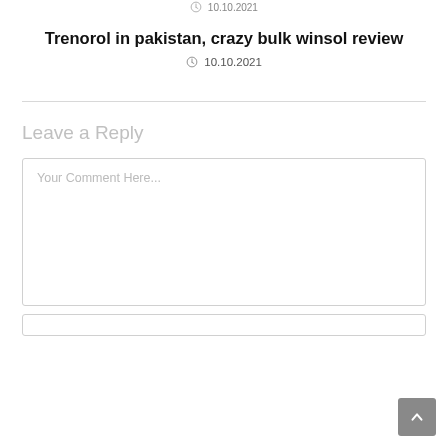10.10.2021
Trenorol in pakistan, crazy bulk winsol review
10.10.2021
Leave a Reply
Your Comment Here...